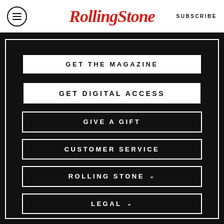Rolling Stone | SUBSCRIBE
GET THE MAGAZINE
GET DIGITAL ACCESS
GIVE A GIFT
CUSTOMER SERVICE
ROLLING STONE
LEGAL